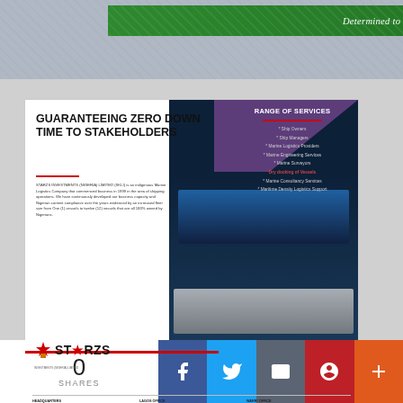[Figure (photo): Top banner with green gradient bar reading 'Determined to Make a Difference' on a textured blue-grey background]
[Figure (advertisement): STARZS INVESTMENTS (NIGERIA) LIMITED advertisement. Headline: GUARANTEEING ZERO DOWN TIME TO STAKEHOLDERS. Range of Services listed: Ship Owners, Ship Managers, Marine Logistics Providers, Marine Engineering Services, Marine Surveyors, Dry docking of Vessels, Marine Consultancy Services, Maritime Density Logistics Support. Three addresses: HEADQUARTERS, LAGOS OFFICE, WARRI OFFICE. Website and contact information at bottom.]
[Figure (photo): Photo of large blue-hulled cargo/shipping vessel at sea, with a share button overlay icon in upper right corner]
[Figure (logo): Partial view of Nigerian Shippers' Council logo on purple background]
0
SHARES